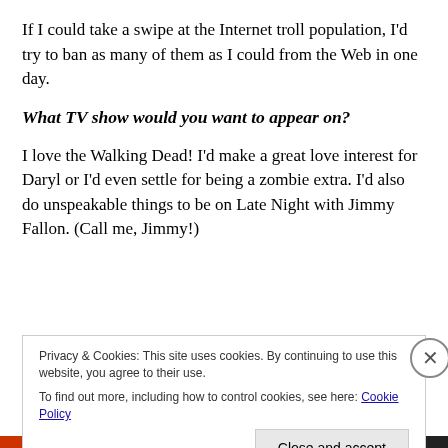If I could take a swipe at the Internet troll population, I'd try to ban as many of them as I could from the Web in one day.
What TV show would you want to appear on?
I love the Walking Dead!  I'd make a great love interest for Daryl or I'd even settle for being a zombie extra. I'd also do unspeakable things to be on Late Night with Jimmy Fallon. (Call me, Jimmy!)
Best and worst things I could find in your refrigerator
Privacy & Cookies: This site uses cookies. By continuing to use this website, you agree to their use.
To find out more, including how to control cookies, see here: Cookie Policy
Close and accept